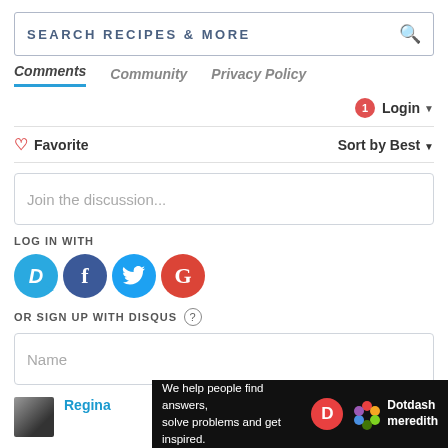[Figure (screenshot): Search bar with text SEARCH RECIPES & MORE and a search icon]
Comments  Community  Privacy Policy
Login
Favorite  Sort by Best
Join the discussion...
LOG IN WITH
[Figure (logo): Social login icons: Disqus (D), Facebook (f), Twitter bird, Google (G)]
OR SIGN UP WITH DISQUS ?
Name
Regina
[Figure (screenshot): Dotdash Meredith ad banner: We help people find answers, solve problems and get inspired.]